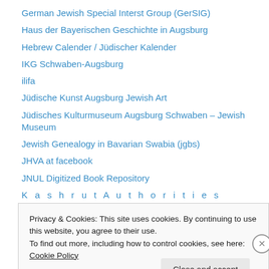German Jewish Special Interst Group (GerSIG)
Haus der Bayerischen Geschichte in Augsburg
Hebrew Calender / Jüdischer Kalender
IKG Schwaben-Augsburg
ilifa
Jüdische Kunst Augsburg Jewish Art
Jüdisches Kulturmuseum Augsburg Schwaben – Jewish Museum
Jewish Genealogy in Bavarian Swabia (jgbs)
JHVA at facebook
JNUL Digitized Book Repository
K a s h r u t A u t h o r i t i e s
kokavim verlag
Lo Tishkach
Privacy & Cookies: This site uses cookies. By continuing to use this website, you agree to their use. To find out more, including how to control cookies, see here: Cookie Policy
Close and accept